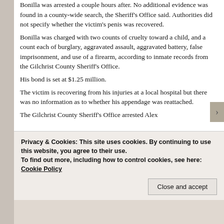Bonilla was arrested a couple hours after. No additional evidence was found in a county-wide search, the Sheriff's Office said. Authorities did not specify whether the victim's penis was recovered. Bonilla was charged with two counts of cruelty toward a child, and a count each of burglary, aggravated assault, aggravated battery, false imprisonment, and use of a firearm, according to inmate records from the Gilchrist County Sheriff's Office. His bond is set at $1.25 million. The victim is recovering from his injuries at a local hospital but there was no information as to whether his appendage was reattached. The Gilchrist County Sheriff's Office arrested Alex
Privacy & Cookies: This site uses cookies. By continuing to use this website, you agree to their use. To find out more, including how to control cookies, see here: Cookie Policy
Close and accept